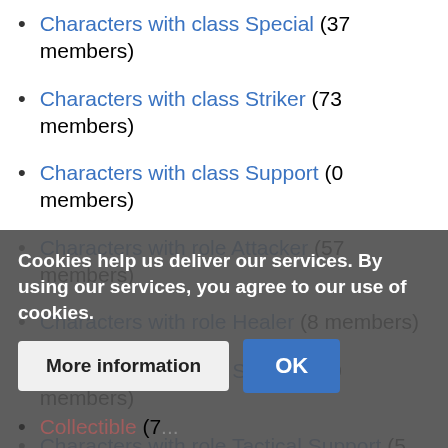Characters with class Special (37 members)
Characters with class Striker (73 members)
Characters with class Support (0 members)
Characters with role Attacker (57 members)
Characters with role Healer (8 members)
Characters with role Support (29 members)
Characters with role Tactical Support (5 members)
Characters with role Tank (11 members)
Characters with shards that can be farmed or bought (51 members)
Collectible (7...)
Cookies help us deliver our services. By using our services, you agree to our use of cookies.